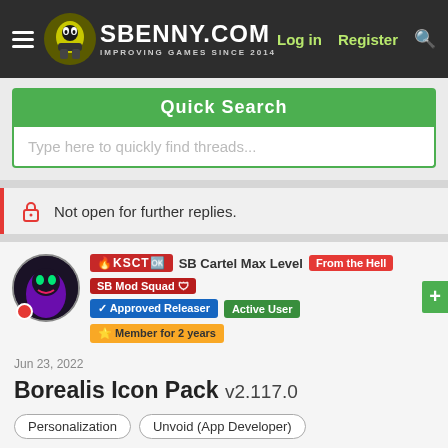SBENNY.COM — IMPROVING GAMES SINCE 2014 | Log in | Register
Quick Search
Type here to quickly find threads...
Not open for further replies.
KSCT  SB Cartel Max Level  From the Hell  SB Mod Squad 🛡 | ✔ Approved Releaser | Active User | ⭐ Member for 2 years
Jun 23, 2022
Borealis Icon Pack v2.117.0
Personalization | Unvoid (App Developer)
MOD Features | How to install